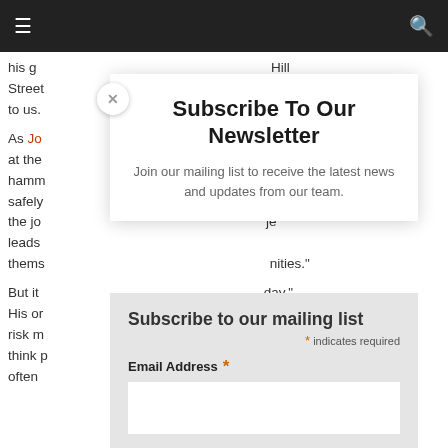Navigation bar with menu and search icons
his g... Hill Street... do it to us... As Jo... day at the hamm... ome safely... ves, the jo... je leads thems... nities." But it... day." His or... ed to risk m... ally think p... Too often... eople
Subscribe To Our Newsletter
Join our mailing list to receive the latest news and updates from our team.
Subscribe to our mailing list
* indicates required
Email Address *